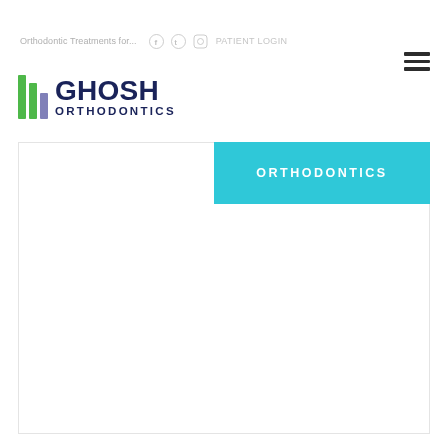Orthodontic Treatments for...
[Figure (logo): Ghosh Orthodontics logo with three vertical colored bars (green and purple) beside bold navy text reading GHOSH ORTHODONTICS]
[Figure (other): ORTHODONTICS button/tab in cyan/teal color with white uppercase text]
[Figure (photo): Large white/blank content area with light border]